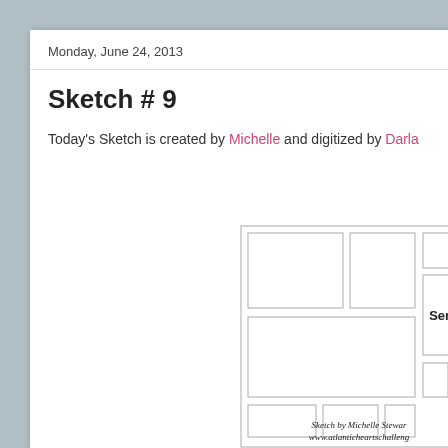Monday, June 24, 2013
Sketch # 9
Today's Sketch is created by Michelle and digitized by Darla
[Figure (schematic): A card layout sketch showing multiple rectangular photo/element placeholders arranged in a grid-like pattern, with a 'Sentin' (Sentiment) label box on the right side, and a watermark reading 'Sketch by Michelle Stewart www.atlanticheartschallenge...']